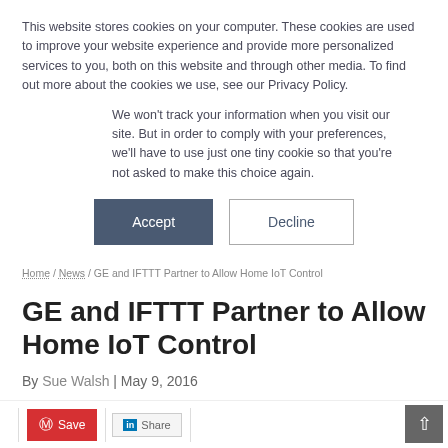This website stores cookies on your computer. These cookies are used to improve your website experience and provide more personalized services to you, both on this website and through other media. To find out more about the cookies we use, see our Privacy Policy.
We won't track your information when you visit our site. But in order to comply with your preferences, we'll have to use just one tiny cookie so that you're not asked to make this choice again.
Accept
Decline
Home / News / GE and IFTTT Partner to Allow Home IoT Control
GE and IFTTT Partner to Allow Home IoT Control
By Sue Walsh | May 9, 2016
[Figure (other): Share bar with Pinterest Save button, LinkedIn share button, and scroll-to-top button]